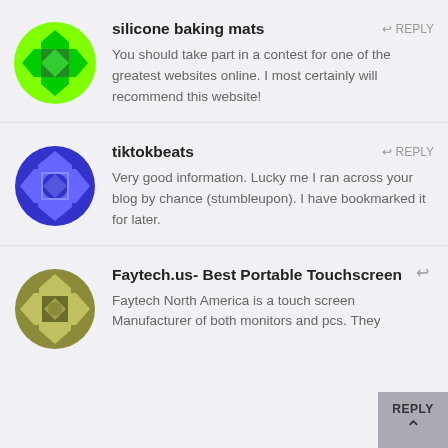[Figure (illustration): Green decorative avatar icon with geometric pattern, circular shape]
silicone baking mats
REPLY
You should take part in a contest for one of the greatest websites online. I most certainly will recommend this website!
[Figure (illustration): Blue/purple decorative avatar icon with geometric pattern, circular shape]
tiktokbeats
REPLY
Very good information. Lucky me I ran across your blog by chance (stumbleupon). I have bookmarked it for later.
[Figure (illustration): Olive/green decorative avatar icon with geometric pattern, circular shape]
Faytech.us- Best Portable Touchscreen
REPLY
Faytech North America is a touch screen Manufacturer of both monitors and pcs. They